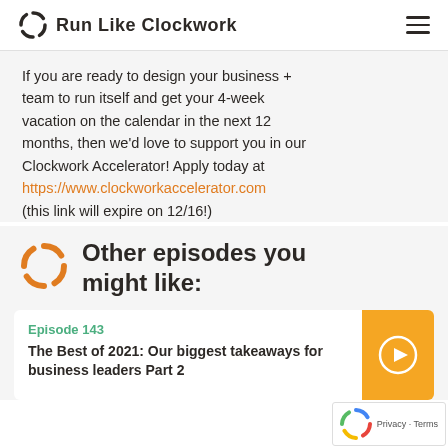Run Like Clockwork
If you are ready to design your business + team to run itself and get your 4-week vacation on the calendar in the next 12 months, then we'd love to support you in our Clockwork Accelerator! Apply today at https://www.clockworkaccelerator.com (this link will expire on 12/16!)
Other episodes you might like:
Episode 143
The Best of 2021: Our biggest takeaways for business leaders Part 2